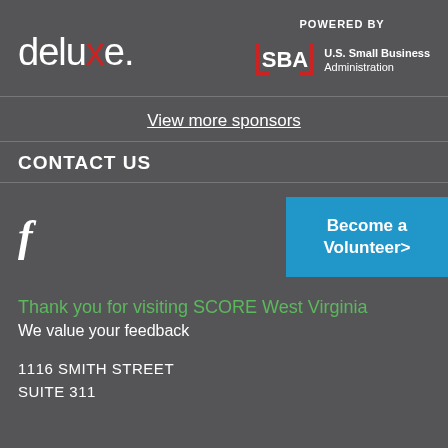[Figure (logo): Deluxe company logo in white text with red X]
[Figure (logo): POWERED BY U.S. Small Business Administration SBA logo]
View more sponsors
CONTACT US
[Figure (logo): Facebook f icon]
Become a Volunteer>
Thank you for visiting SCORE West Virginia
We value your feedback
1116 SMITH STREET
SUITE 311